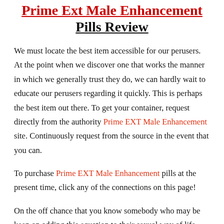Prime Ext Male Enhancement Pills Review
We must locate the best item accessible for our perusers. At the point when we discover one that works the manner in which we generally trust they do, we can hardly wait to educate our perusers regarding it quickly. This is perhaps the best item out there. To get your container, request directly from the authority Prime EXT Male Enhancement site. Continuously request from the source in the event that you can.
To purchase Prime EXT Male Enhancement pills at the present time, click any of the connections on this page!
On the off chance that you know somebody who may be keen on adding this equation to their sexual way of life, ensure they read this as well. Utilize the social fastens above to send them to this page. Much obliged for perusing and best of wellbeing to you!